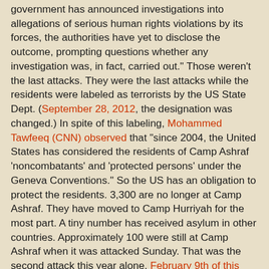government has announced investigations into allegations of serious human rights violations by its forces, the authorities have yet to disclose the outcome, prompting questions whether any investigation was, in fact, carried out."  Those weren't the last attacks.  They were the last attacks while the residents were labeled as terrorists by the US State Dept.  (September 28, 2012, the designation was changed.)   In spite of this labeling, Mohammed Tawfeeq (CNN) observed that "since 2004, the United States has considered the residents of Camp Ashraf 'noncombatants' and 'protected persons' under the Geneva Conventions."  So the US has an obligation to protect the residents.  3,300 are no longer at Camp Ashraf.  They have moved to Camp Hurriyah for the most part.  A tiny number has received asylum in other countries. Approximately 100 were still at Camp Ashraf when it was attacked Sunday.   That was the second attack this year alone.    February 9th of this year, the Ashraf residents were again attacked, this time the ones who had been relocated to Camp Hurriyah.   Trend News Agency counted 10 dead and over one hundred injured.  Prensa Latina reported, " A rain of self-propelled Katyusha missiles hit a provisional camp of Iraqi opposition Mujahedin-e Khalk, an organization Tehran calls terrorists, causing seven fatalities